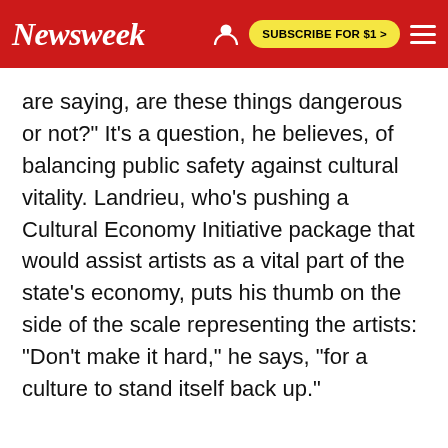Newsweek | SUBSCRIBE FOR $1 >
are saying, are these things dangerous or not?" It's a question, he believes, of balancing public safety against cultural vitality. Landrieu, who's pushing a Cultural Economy Initiative package that would assist artists as a vital part of the state's economy, puts his thumb on the side of the scale representing the artists: "Don't make it hard," he says, "for a culture to stand itself back up."